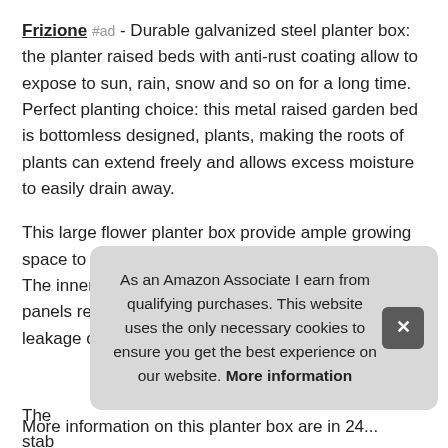Frizione #ad - Durable galvanized steel planter box: the planter raised beds with anti-rust coating allow to expose to sun, rain, snow and so on for a long time. Perfect planting choice: this metal raised garden bed is bottomless designed, plants, making the roots of plants can extend freely and allows excess moisture to easily drain away.

This large flower planter box provide ample growing space to raise vegetables, herbs, flowers and plants. The inner steel stabilizing upport bars help the metal panels retain their shape, preventing warping and soil leakage over time.
More information #ad
The ... stab... flow...
As an Amazon Associate I earn from qualifying purchases. This website uses the only necessary cookies to ensure you get the best experience on our website. More information
More information on this planter box are in 24...